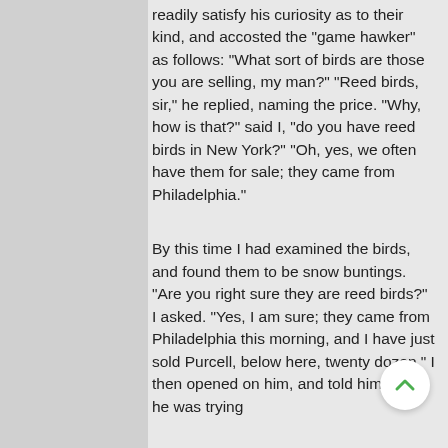readily satisfy his curiosity as to their kind, and accosted the "game hawker" as follows: "What sort of birds are those you are selling, my man?" "Reed birds, sir," he replied, naming the price. "Why, how is that?" said I, "do you have reed birds in New York?" "Oh, yes, we often have them for sale; they came from Philadelphia."
By this time I had examined the birds, and found them to be snow buntings. "Are you right sure they are reed birds?" I asked. "Yes, I am sure; they came from Philadelphia this morning, and I have just sold Purcell, below here, twenty dozen." I then opened on him, and told him whom he was trying